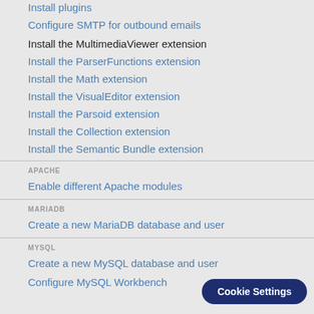Install plugins
Configure SMTP for outbound emails
Install the MultimediaViewer extension
Install the ParserFunctions extension
Install the Math extension
Install the VisualEditor extension
Install the Parsoid extension
Install the Collection extension
Install the Semantic Bundle extension
APACHE
Enable different Apache modules
MARIADB
Create a new MariaDB database and user
MYSQL
Create a new MySQL database and user
Configure MySQL Workbench